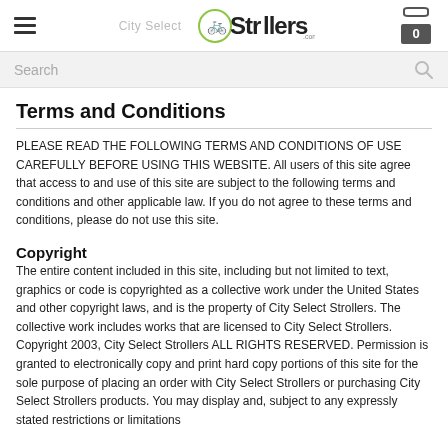City Select Strollers
Terms and Conditions
PLEASE READ THE FOLLOWING TERMS AND CONDITIONS OF USE CAREFULLY BEFORE USING THIS WEBSITE. All users of this site agree that access to and use of this site are subject to the following terms and conditions and other applicable law. If you do not agree to these terms and conditions, please do not use this site.
Copyright
The entire content included in this site, including but not limited to text, graphics or code is copyrighted as a collective work under the United States and other copyright laws, and is the property of City Select Strollers. The collective work includes works that are licensed to City Select Strollers. Copyright 2003, City Select Strollers ALL RIGHTS RESERVED. Permission is granted to electronically copy and print hard copy portions of this site for the sole purpose of placing an order with City Select Strollers or purchasing City Select Strollers products. You may display and, subject to any expressly stated restrictions or limitations